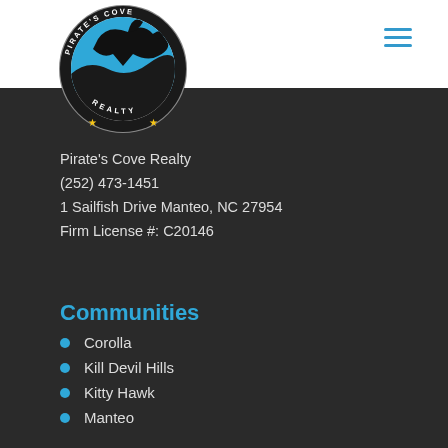[Figure (logo): Pirate's Cove Realty circular logo with a marlin and waves, text around the border reading PIRATE'S COVE REALTY, gold stars at bottom]
[Figure (other): Hamburger menu icon with three horizontal blue lines]
Pirate's Cove Realty
(252) 473-1451
1 Sailfish Drive Manteo, NC 27954
Firm License #: C20146
Communities
Corolla
Kill Devil Hills
Kitty Hawk
Manteo